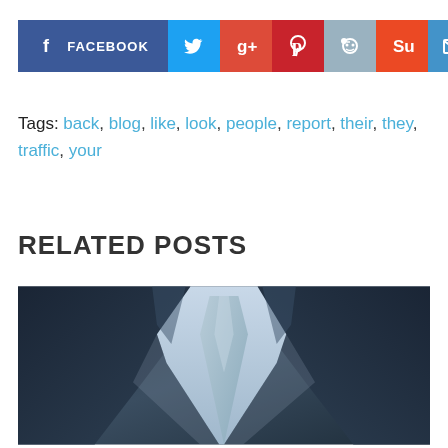[Figure (infographic): Social media share buttons: Facebook (dark blue, wide), Twitter (blue bird), Google+ (red), Pinterest (red), Reddit (light blue), StumbleUpon (orange), Email (blue envelope)]
Tags: back, blog, like, look, people, report, their, they, traffic, your
RELATED POSTS
[Figure (photo): Close-up photo of a person in a dark suit jacket with a white shirt and light blue tie, shot from chest level]